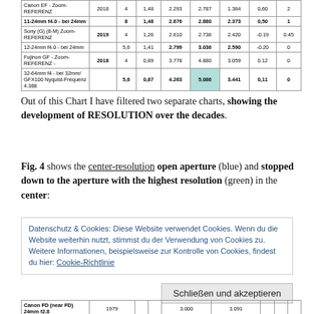| Lens | Year |  | f | LPH center open | LPH center stopped | LPH best | diff | Score |
| --- | --- | --- | --- | --- | --- | --- | --- | --- |
| Canon EF - Zoom-REFERENZ | 2018 | 4 | 1,48 | 2.293 | 2.787 | 1.364 | 0,60 | 2 |
| 11-24mm f4.0 - bei 24mm |  | 8 | 1,48 | 2.676 | 2.880 | 2.373 | 0,50 | 1 |
| Sony (G) (8-M) Zoom-REFERENZ | 2019 | 4 | 1,26 | 2.610 | 2.736 | 2.420 | -0.19 | 0.45 |
| 12-24mm f4.0 - bei 24mm |  | 5,6 | 1,41 | 2.799 | 3.036 | 2.590 | -0.20 | 0 |
| Fujinon GF - Zoom-REFERENZ - | 2018 | 4 | 0,89 | 3.778 | 4.880 | 3.059 | 0.12 | 0 |
| 32-64mm f4 - bei 32mm/ GFX100 Nyquist-Frequenz 4.388 |  | 5,6 | 0,87 | 4.263 | 5.086 | 3.441 | 0,11 | 0 |
Out of this Chart I have filtered two separate charts, showing the development of RESOLUTION over the decades.
Fig. 4 shows the center-resolution open aperture (blue) and stopped down to the aperture with the highest resolution (green) in the center:
Datenschutz & Cookies: Diese Website verwendet Cookies. Wenn du die Website weiterhin nutzt, stimmst du der Verwendung von Cookies zu.
Weitere Informationen, beispielsweise zur Kontrolle von Cookies, findest du hier: Cookie-Richtlinie
Schließen und akzeptieren
| Lens | Year |  |  | LPH center open | LPH center stopped |
| --- | --- | --- | --- | --- | --- |
| Canon FD (near FD) 24mm f2.8 | 1979 |  |  | 3.000 | 3.091 |